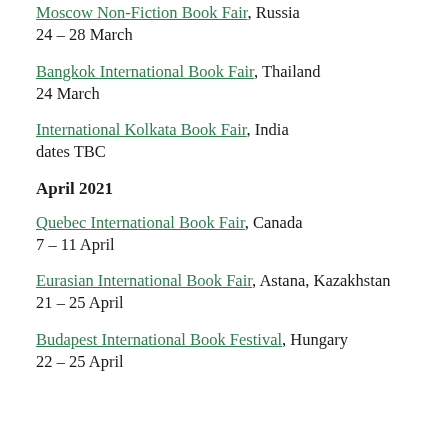Moscow Non-Fiction Book Fair, Russia
24 – 28 March
Bangkok International Book Fair, Thailand
24 March
International Kolkata Book Fair, India
dates TBC
April 2021
Quebec International Book Fair, Canada
7 – 11 April
Eurasian International Book Fair, Astana, Kazakhstan
21 – 25 April
Budapest International Book Festival, Hungary
22 – 25 April